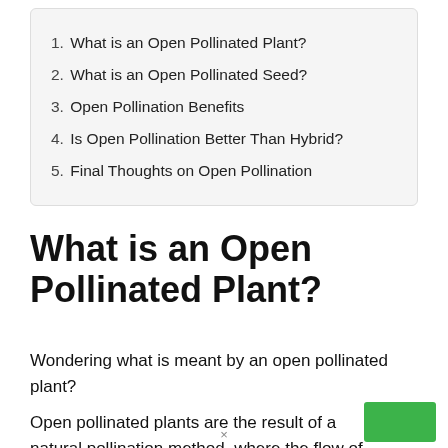1. What is an Open Pollinated Plant?
2. What is an Open Pollinated Seed?
3. Open Pollination Benefits
4. Is Open Pollination Better Than Hybrid?
5. Final Thoughts on Open Pollination
What is an Open Pollinated Plant?
Wondering what is meant by an open pollinated plant?
Open pollinated plants are the result of a natural pollination method, where the flow of pollen is